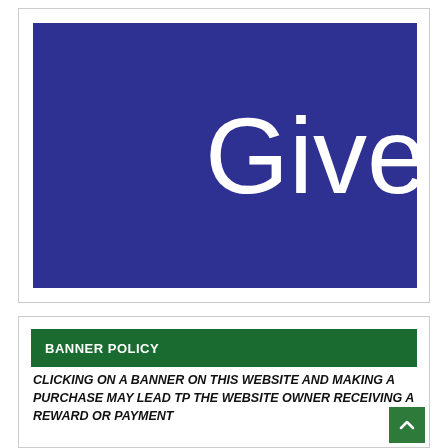[Figure (illustration): Dark navy/blue rectangle banner with large white text 'Give' partially visible (cropped on right side)]
BANNER POLICY
CLICKING ON A BANNER ON THIS WEBSITE AND MAKING A PURCHASE MAY LEAD TP THE WEBSITE OWNER RECEIVING A REWARD OR PAYMENT